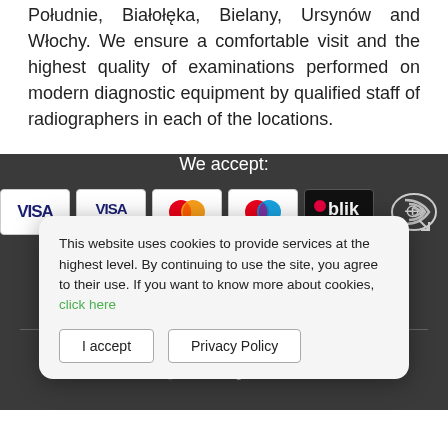Południe, Białołęka, Bielany, Ursynów and Włochy. We ensure a comfortable visit and the highest quality of examinations performed on modern diagnostic equipment by qualified staff of radiographers in each of the locations.
We accept:
[Figure (infographic): Payment method icons: VISA, VISA Electron, Mastercard, Maestro, BLIK, contactless payment]
Diagdent on social media:
This website uses cookies to provide services at the highest level. By continuing to use the site, you agree to their use. If you want to know more about cookies, click here
Privacy Policy   Cookies   Privacy Policy
© Diagdent - All rights reserved